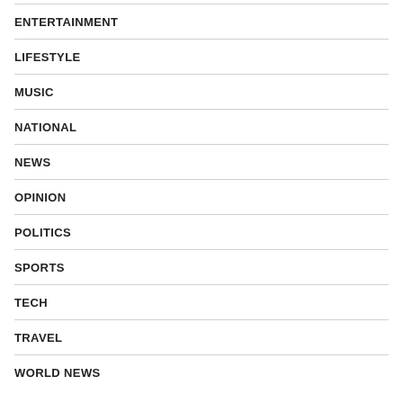ENTERTAINMENT
LIFESTYLE
MUSIC
NATIONAL
NEWS
OPINION
POLITICS
SPORTS
TECH
TRAVEL
WORLD NEWS